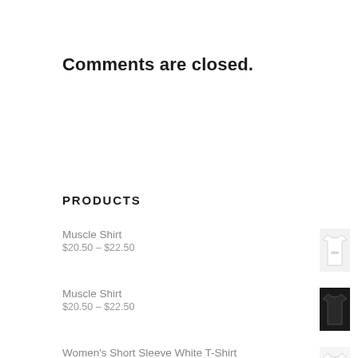Comments are closed.
PRODUCTS
Muscle Shirt
$20.50 – $22.50
[Figure (photo): White muscle shirt product image]
Muscle Shirt
$20.50 – $22.50
[Figure (photo): Black muscle shirt product image]
Women's Short Sleeve White T-Shirt
$22.00
[Figure (photo): Women's short sleeve white t-shirt product image]